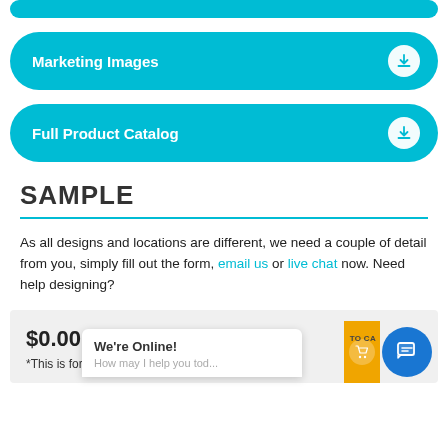[Figure (screenshot): Partial cyan rounded download button at top (cropped)]
Marketing Images (download button)
Full Product Catalog (download button)
SAMPLE
As all designs and locations are different, we need a couple of detail from you, simply fill out the form, email us or live chat now. Need help designing?
$0.00
*This is for one unit, excluding shipping
[Figure (screenshot): Live chat popup overlay showing 'We're Online! How may I help you tod...' with chat FAB button and partial cart button]